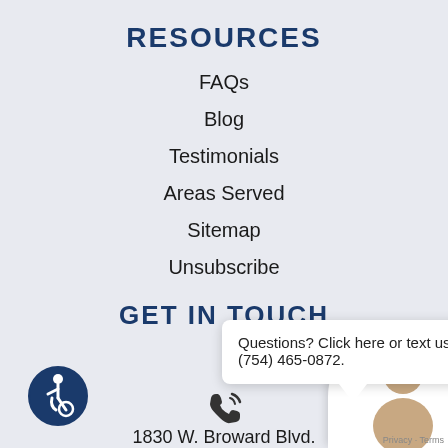RESOURCES
FAQs
Blog
Testimonials
Areas Served
Sitemap
Unsubscribe
GET IN TOUCH
Questions? Click here or text us at (754) 465-0872.
1830 W. Broward Blvd.
Fort Lauderdale, FL 33312
[Figure (illustration): Accessibility icon — blue circle with wheelchair user symbol]
[Figure (illustration): Phone/call icon with signal waves]
[Figure (photo): Chat widget showing a female avatar with a red badge showing '1' unread message, and Privacy · Terms text]